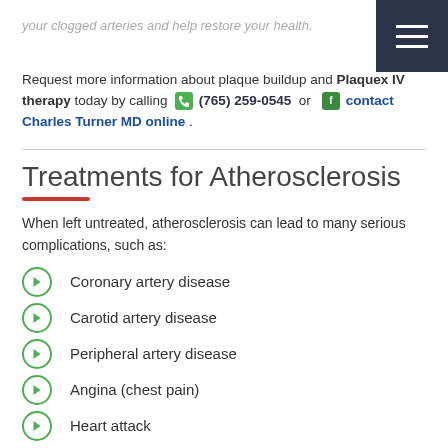your clogged arteries and help restore your health.
Request more information about plaque buildup and Plaquex IV therapy today by calling (765) 259-0545 or contact Charles Turner MD online.
Treatments for Atherosclerosis
When left untreated, atherosclerosis can lead to many serious complications, such as:
Coronary artery disease
Carotid artery disease
Peripheral artery disease
Angina (chest pain)
Heart attack